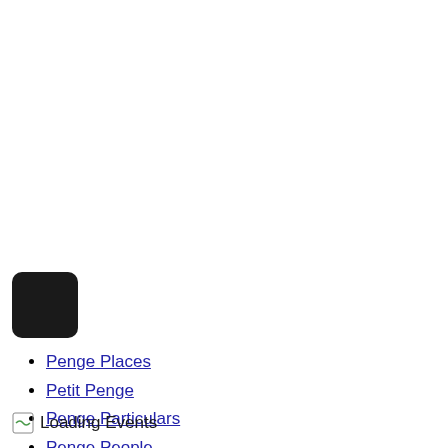[Figure (other): Black rounded square icon/logo element]
Penge Places
Petit Penge
Penge Particulars
Penge People
Penge-gagements
Loading Events